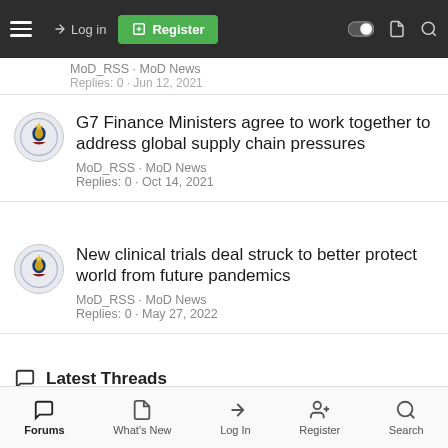Navigation bar with menu, Log in, Register, and icons
MoD_RSS · MoD News
Replies: 0 · Jun 12, 2021
G7 Finance Ministers agree to work together to address global supply chain pressures
MoD_RSS · MoD News
Replies: 0 · Oct 14, 2021
New clinical trials deal struck to better protect world from future pandemics
MoD_RSS · MoD News
Replies: 0 · May 27, 2022
Latest Threads
P&O Ferries: update from the Insolvency Service (19
Forums · What's New · Log In · Register · Search